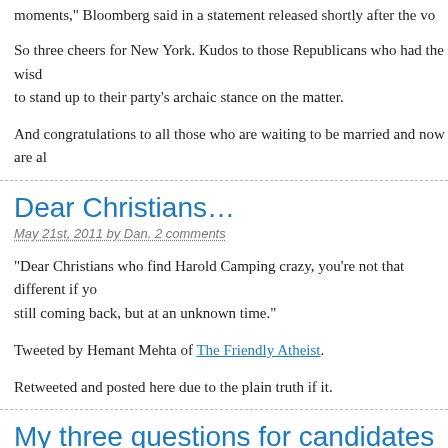moments," Bloomberg said in a statement released shortly after the vo
So three cheers for New York. Kudos to those Republicans who had the wisd to stand up to their party's archaic stance on the matter.
And congratulations to all those who are waiting to be married and now are al
Dear Christians…
May 21st, 2011 by Dan. 2 comments
"Dear Christians who find Harold Camping crazy, you're not that different if yo still coming back, but at an unknown time."
Tweeted by Hemant Mehta of The Friendly Atheist.
Retweeted and posted here due to the plain truth if it.
My three questions for candidates
Sep 26th, 2010 by Dan. No comments yet
People have different ways of selecting a candidate in any given elections, so